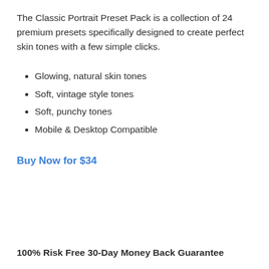The Classic Portrait Preset Pack is a collection of 24 premium presets specifically designed to create perfect skin tones with a few simple clicks.
Glowing, natural skin tones
Soft, vintage style tones
Soft, punchy tones
Mobile & Desktop Compatible
Buy Now for $34
100% Risk Free 30-Day Money Back Guarantee